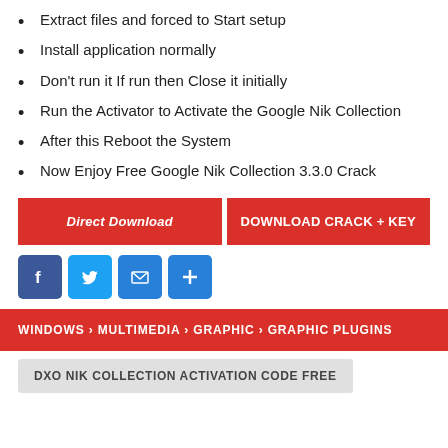Extract files and forced to Start setup
Install application normally
Don't run it If run then Close it initially
Run the Activator to Activate the Google Nik Collection
After this Reboot the System
Now Enjoy Free Google Nik Collection 3.3.0 Crack
[Figure (infographic): Two red download buttons side by side: 'Direct Download' and 'DOWNLOAD CRACK + KEY', followed by social share icons (Facebook, Twitter, Email, Plus) in blue squares.]
WINDOWS › MULTIMEDIA › GRAPHIC › GRAPHIC PLUGINS
DXO NIK COLLECTION ACTIVATION CODE FREE